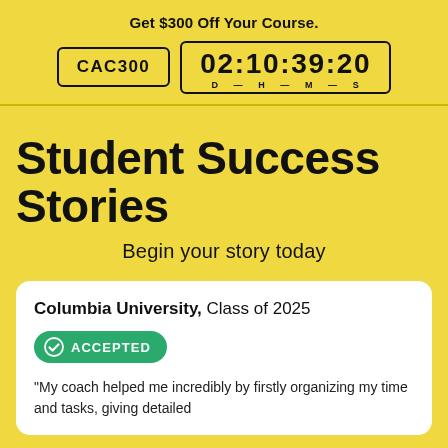Get $300 Off Your Course.
CAC300   02:10:39:20  D  H  M  S
Student Success Stories
Begin your story today
Columbia University, Class of 2025
ACCEPTED
“My coach helped me incredibly by firstly organizing my time and tasks, giving detailed